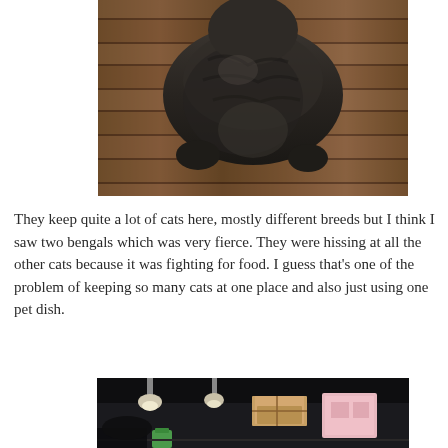[Figure (photo): A fluffy dark tabby cat lying on a wooden floor, viewed from above. The cat appears to be a long-haired breed lying flat on hardwood flooring with wood grain visible.]
They keep quite a lot of cats here, mostly different breeds but I think I saw two bengals which was very fierce. They were hissing at all the other cats because it was fighting for food. I guess that's one of the problem of keeping so many cats at one place and also just using one pet dish.
[Figure (photo): Interior of what appears to be a cat cafe or pet shop, showing hanging light fixtures, wooden crates or boxes stacked up, and a pink structure. Dark ceiling and shelving visible.]